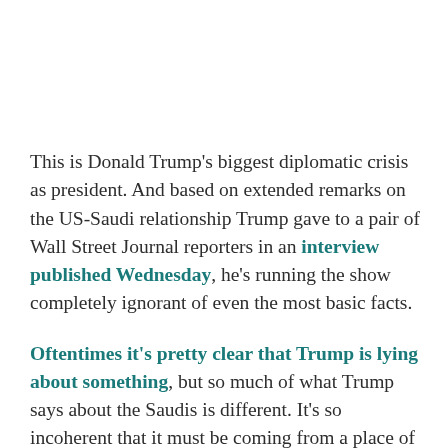This is Donald Trump's biggest diplomatic crisis as president. And based on extended remarks on the US-Saudi relationship Trump gave to a pair of Wall Street Journal reporters in an interview published Wednesday, he's running the show completely ignorant of even the most basic facts.
Oftentimes it's pretty clear that Trump is lying about something, but so much of what Trump says about the Saudis is different. It's so incoherent that it must be coming from a place of genuine confusion or ignorance. On a whole range of subjects from the